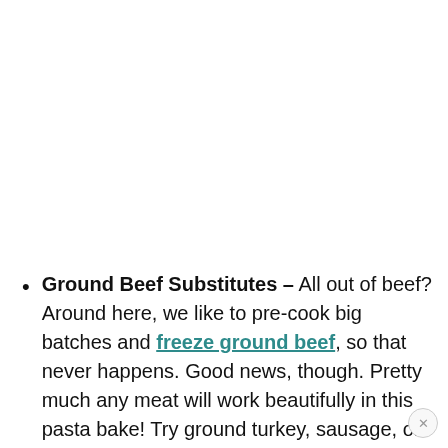Ground Beef Substitutes – All out of beef? Around here, we like to pre-cook big batches and freeze ground beef, so that never happens. Good news, though. Pretty much any meat will work beautifully in this pasta bake! Try ground turkey, sausage, or ground chicken. You could even toss in some shredded chicken. How a little bit of each? A great...